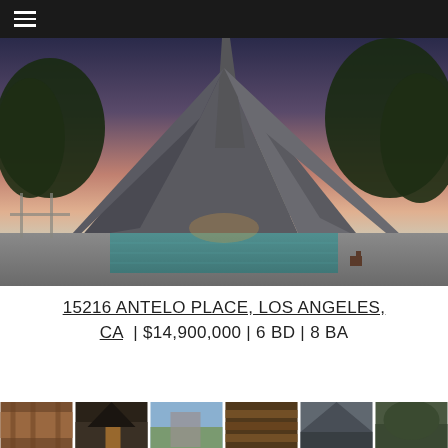Navigation menu
[Figure (photo): Exterior architectural photo of a modernist home at dusk with dramatic angled roof panels, a swimming pool in the foreground, stone walls, large glass doors with interior lighting, and surrounded by trees with a colorful sky.]
15216 ANTELO PLACE, LOS ANGELES, CA  | $14,900,000 | 6 BD | 8 BA
[Figure (photo): Strip of 6 thumbnail property interior and exterior photos.]